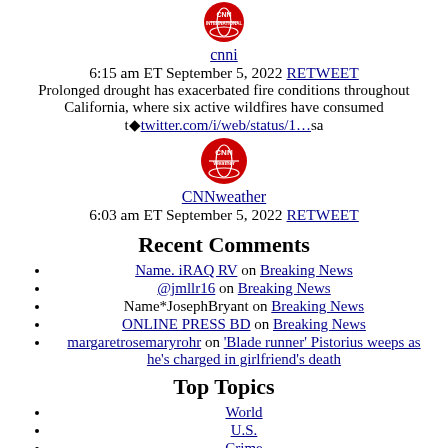[Figure (logo): CNN International circular red logo]
cnni
6:15 am ET September 5, 2022 RETWEET
Prolonged drought has exacerbated fire conditions throughout California, where six active wildfires have consumed t■twitter.com/i/web/status/1…sa
[Figure (logo): CNN Weather circular red logo]
CNNweather
6:03 am ET September 5, 2022 RETWEET
Recent Comments
Name. iRAQ RV on Breaking News
@jmllr16 on Breaking News
Name*JosephBryant on Breaking News
ONLINE PRESS BD on Breaking News
margaretrosemaryrohr on 'Blade runner' Pistorius weeps as he's charged in girlfriend's death
Top Topics
World
U.S.
Crime
Politics